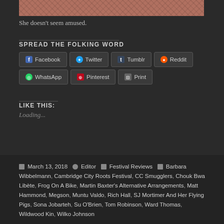[Figure (photo): Decorative reddish-brown damask pattern image at the top of the page]
She doesn't seem amused.
SPREAD THE FOLKING WORD
Facebook  Twitter  Tumblr  Reddit  WhatsApp  Pinterest  Print
LIKE THIS:
Loading...
March 13, 2018  Editor  Festival Reviews  Barbara Wibbelmann, Cambridge City Roots Festival, CC Smugglers, Chouk Bwa Libète, Frog On A Bike, Martin Baxter's Alternative Arrangements, Matt Hammond, Megson, Muntu Valdo, Rich Hall, SJ Mortimer And Her Flying Pigs, Sona Jobarteh, Su O'Brien, Tom Robinson, Ward Thomas, Wildwood Kin, Wilko Johnson